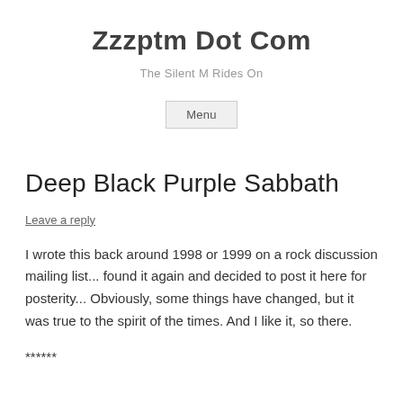Zzzptm Dot Com
The Silent M Rides On
Menu
Deep Black Purple Sabbath
Leave a reply
I wrote this back around 1998 or 1999 on a rock discussion mailing list... found it again and decided to post it here for posterity... Obviously, some things have changed, but it was true to the spirit of the times. And I like it, so there.
******